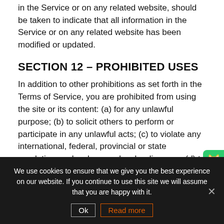in the Service or on any related website, should be taken to indicate that all information in the Service or on any related website has been modified or updated.
SECTION 12 – PROHIBITED USES
In addition to other prohibitions as set forth in the Terms of Service, you are prohibited from using the site or its content: (a) for any unlawful purpose; (b) to solicit others to perform or participate in any unlawful acts; (c) to violate any international, federal, provincial or state regulations, rules, laws, or local ordinances; (d) to infringe upon or violate our intellectual property rights or the intellectual property rights of others; (e) to harass, abuse, insult, harm, defame, slander, disparage, intimidate, or discriminate
We use cookies to ensure that we give you the best experience on our website. If you continue to use this site we will assume that you are happy with it.